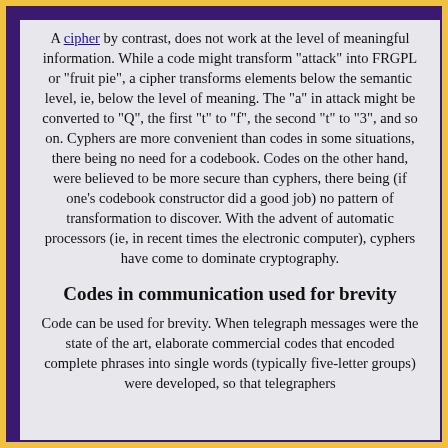A cipher by contrast, does not work at the level of meaningful information. While a code might transform "attack" into FRGPL or "fruit pie", a cipher transforms elements below the semantic level, ie, below the level of meaning. The "a" in attack might be converted to "Q", the first "t" to "f", the second "t" to "3", and so on. Cyphers are more convenient than codes in some situations, there being no need for a codebook. Codes on the other hand, were believed to be more secure than cyphers, there being (if one's codebook constructor did a good job) no pattern of transformation to discover. With the advent of automatic processors (ie, in recent times the electronic computer), cyphers have come to dominate cryptography.
Codes in communication used for brevity
Code can be used for brevity. When telegraph messages were the state of the art, elaborate commercial codes that encoded complete phrases into single words (typically five-letter groups) were developed, so that telegraphers